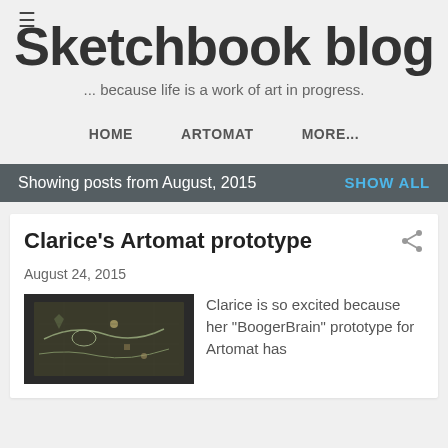≡
Sketchbook blog
... because life is a work of art in progress.
HOME
ARTOMAT
MORE...
Showing posts from August, 2015   SHOW ALL
Clarice's Artomat prototype
August 24, 2015
[Figure (photo): Photograph of a map or game board artwork piece, dark background with illustrated map details]
Clarice is so excited because her "BoogerBrain" prototype for Artomat has